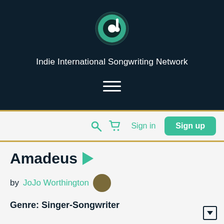[Figure (logo): Circular teal/green music note logo on dark navy background]
Indie International Songwriting Network
[Figure (other): Hamburger menu icon (three white horizontal lines)]
[Figure (other): Navigation bar with search icon, shopping cart icon, Sign in link, and Sign up button]
Amadeus
by JoJo Worthington
Genre: Singer-Songwriter